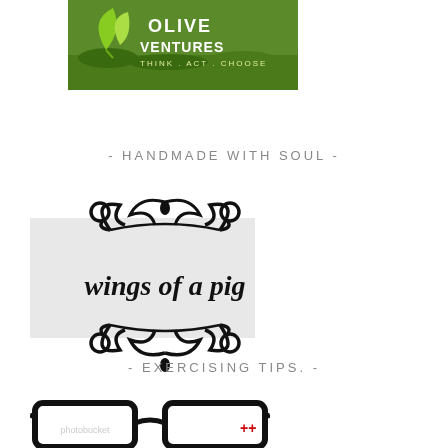[Figure (logo): Olive Ventures logo — green leaves icon with text OLIVE VENTURES THINK. ACT. CHOOSE. on a green grassy background]
- HANDMADE WITH SOUL -
[Figure (logo): Wings of a pig logo — decorative black filigree/swirl ornament surrounding the text 'wings of a pig' in a serif font, on a light gray background rectangle]
- EXERCISING TIPS. -
[Figure (illustration): Black rimmed eyeglasses illustration with a small red plus sign on the right lens, partially cut off at bottom]